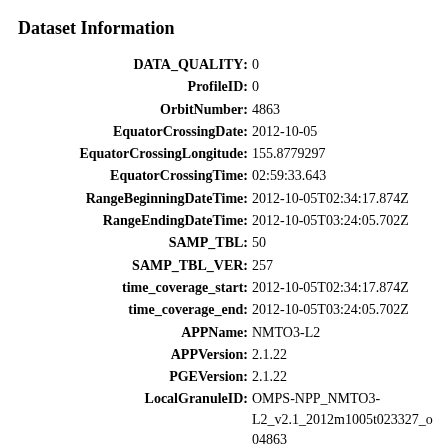Dataset Information
DATA_QUALITY: 0
ProfileID: 0
OrbitNumber: 4863
EquatorCrossingDate: 2012-10-05
EquatorCrossingLongitude: 155.8779297
EquatorCrossingTime: 02:59:33.643
RangeBeginningDateTime: 2012-10-05T02:34:17.874Z
RangeEndingDateTime: 2012-10-05T03:24:05.702Z
SAMP_TBL: 50
SAMP_TBL_VER: 257
time_coverage_start: 2012-10-05T02:34:17.874Z
time_coverage_end: 2012-10-05T03:24:05.702Z
APPName: NMTO3-L2
APPVersion: 2.1.22
PGEVersion: 2.1.22
LocalGranuleID: OMPS-NPP_NMTO3-L2_v2.1_2012m1005t023327_o04863
ArchiveSetNumber: 61004